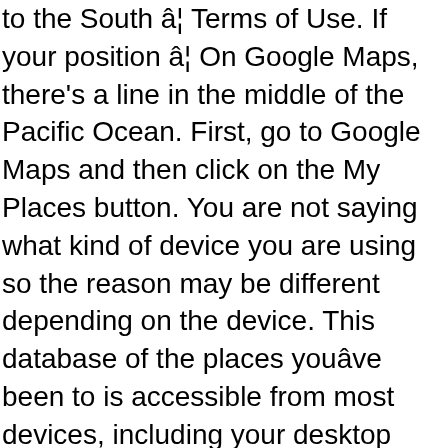to the South â€¦ Terms of Use. If your position â€¦ On Google Maps, there's a line in the middle of the Pacific Ocean. First, go to Google Maps and then click on the My Places button. You are not saying what kind of device you are using so the reason may be different depending on the device. This database of the places youâ€™ve been to is accessible from most devices, including your desktop computer, iPhone, and Android devices. The International Date Line (IDL) on the map. See today's front and back pages, download the newspaper, Gradually Google Maps is only finding me by Wifi, so my movements on my timeline are shown as the crow flies, from point to point. Download Railways Line Shapefile of States. Our Privacy Notice explains more about how we use your data, and your rights. Their location services track you by GPS which includes not only locations but travel, speeds and time. You can unsubscribe at any time. The radius of a circle is the distance from its edge to its centre. Advertise | Thereâ€™s a template for